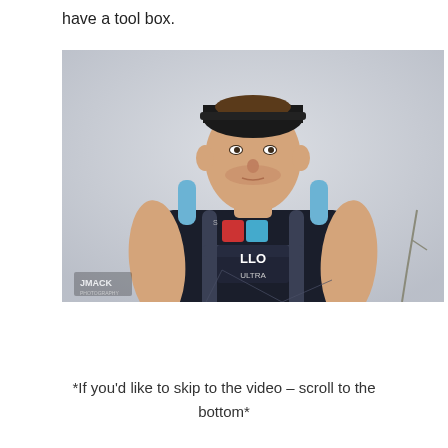have a tool box.
[Figure (photo): A man wearing a black running vest/hydration pack with 'LLO ULTRA' text visible, a black cap, standing against a misty grey background. JMACK watermark visible in bottom left corner.]
*If you'd like to skip to the video – scroll to the bottom*